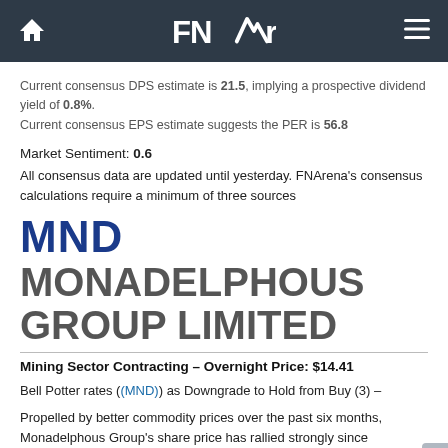FNArena
Current consensus DPS estimate is 21.5, implying a prospective dividend yield of 0.8%. Current consensus EPS estimate suggests the PER is 56.8
Market Sentiment: 0.6
All consensus data are updated until yesterday. FNArena's consensus calculations require a minimum of three sources
MND    MONADELPHOUS GROUP LIMITED
Mining Sector Contracting – Overnight Price: $14.41
Bell Potter rates ((MND)) as Downgrade to Hold from Buy (3) –
Propelled by better commodity prices over the past six months, Monadelphous Group's share price has rallied strongly since bottoming in August. The company stands to benefit from any